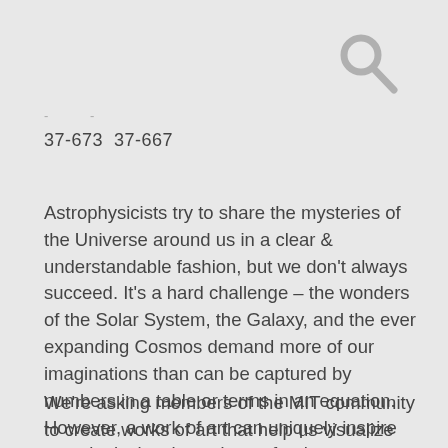[Figure (other): Search icon (magnifying glass) in gray, top right corner]
- -
37-673 37-667
Astrophysicists try to share the mysteries of the Universe around us in a clear & understandable fashion, but we don't always succeed. It's a hard challenge – the wonders of the Solar System, the Galaxy, and the ever expanding Cosmos demand more of our imaginations than can be captured by numbers in a table or terms in an equation. However, a work of art can uniquely inspire us to look closely, to dream freely, to understand openly – anything from the smallest curiosity to the biggest discovery.
We're asking members of the MIT community to create works of art that help us visualize our